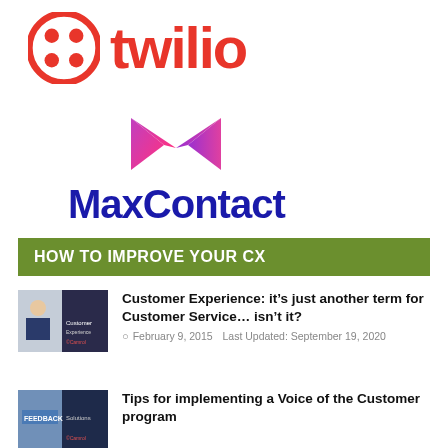[Figure (logo): Twilio logo: red circle icon with four dots and red bold text 'twilio']
[Figure (logo): MaxContact logo: pink/purple 'M' envelope icon above dark blue bold text 'MaxContact']
HOW TO IMPROVE YOUR CX
[Figure (photo): Thumbnail image of a woman at a desk, business/customer service setting, with Camrol branding]
Customer Experience: it’s just another term for Customer Service… isn’t it?
February 9, 2015   Last Updated: September 19, 2020
[Figure (photo): Thumbnail image showing a FEEDBACK sign with Camrol branding]
Tips for implementing a Voice of the Customer program